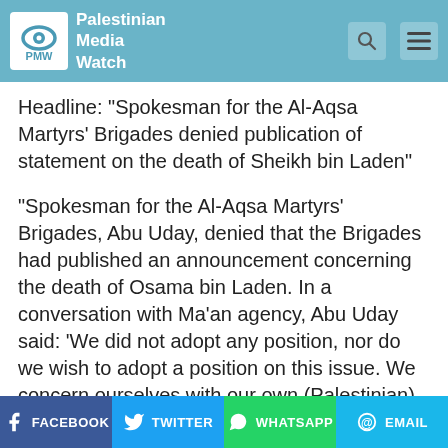Palestinian Media Watch
Headline: "Spokesman for the Al-Aqsa Martyrs' Brigades denied publication of statement on the death of Sheikh bin Laden"
"Spokesman for the Al-Aqsa Martyrs' Brigades, Abu Uday, denied that the Brigades had published an announcement concerning the death of Osama bin Laden. In a conversation with Ma'an agency, Abu Uday said: 'We did not adopt any position, nor do we wish to adopt a position on this issue. We concern ourselves with our own (Palestinian) cause and are not interested in
FACEBOOK   TWITTER   WHATSAPP   EMAIL